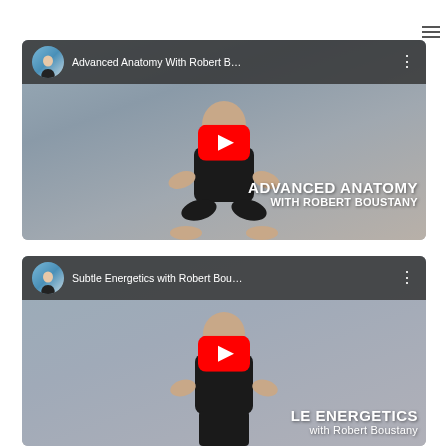[Figure (screenshot): YouTube video thumbnail for 'Advanced Anatomy With Robert B...' showing a bald man in black clothing in a squat position with arms crossed, with YouTube play button overlay and text 'ADVANCED ANATOMY WITH ROBERT BOUSTANY' in white bold on the video frame. Channel avatar shows a woman in white top.]
[Figure (screenshot): YouTube video thumbnail for 'Subtle Energetics with Robert Bou...' showing a bald man in black t-shirt, with YouTube play button overlay and partial text 'LE ENERGETICS with Robert Boustany' visible. Channel avatar shows a woman in white top.]